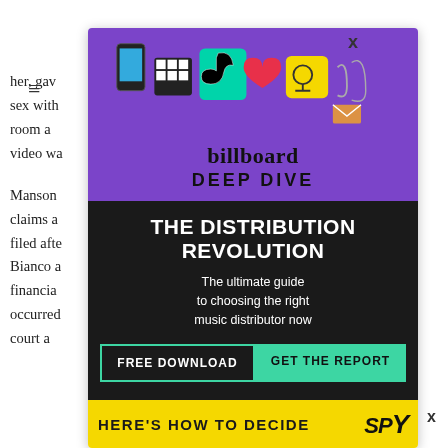[Figure (screenshot): Article text background partially visible behind ad overlay. Hamburger menu icon in top left. Partial article text about 'her, gave... have sex with... ner room a... es. No video wa...' and 'Manson... hese claims a... s only filed afte... r Ms. Bianco a... eous financi... never occurred... ions in court a...']
[Figure (infographic): Billboard Deep Dive advertisement overlay showing TikTok and social media icons illustration on purple background, 'billboard DEEP DIVE' branding, black section with 'THE DISTRIBUTION REVOLUTION' headline, subtitle 'The ultimate guide to choosing the right music distributor now', CTA buttons 'FREE DOWNLOAD' and 'GET THE REPORT', yellow bar at bottom with 'HERE'S HOW TO DECIDE' text and partial SPY logo]